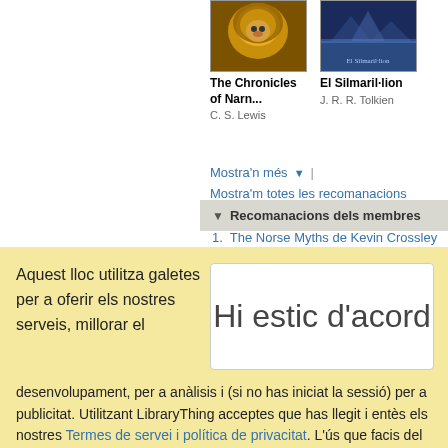[Figure (screenshot): Book cover for The Chronicles of Narnia showing a lion]
The Chronicles of Narn...
C. S. Lewis
[Figure (screenshot): Book cover for El Silmaril·lion with blue mountain scene]
El Silmaril·lion
J. R. R. Tolkien
Mostra'n més ▼ | Mostra'm totes les recomanacions
▼ Recomanacions dels membres
1. The Norse Myths de Kevin Crossley...
Aquest lloc utilitza galetes per a oferir els nostres serveis, millorar el desenvolupament, per a anàlisis i (si no has iniciat la sessió) per a publicitat. Utilitzant LibraryThing acceptes que has llegit i entès els nostres Termes de servei i política de privacitat. L'ús que facis del lloc i dels seus serveis està subjecte a aquestes polítiques i termes.
Hi estic d'acord